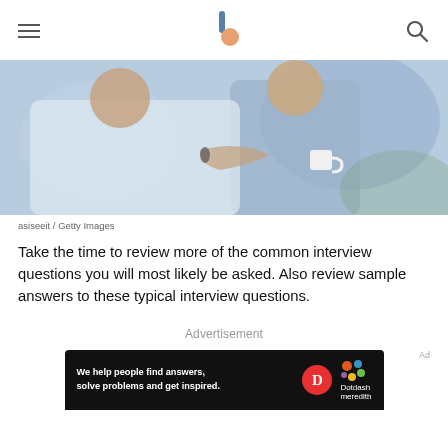The Balance (logo) — hamburger menu and search icon
[Figure (photo): Two people in a handshake or interaction, one in a white top and one in a light blue/grey shirt holding a coffee cup, likely a job interview scene.]
asiseeit / Getty Images
Take the time to review more of the common interview questions you will most likely be asked. Also review sample answers to these typical interview questions.
Advertisement
[Figure (screenshot): Dotdash Meredith advertisement banner on dark background. Text: 'We help people find answers, solve problems and get inspired.' with Dotdash D logo and Dotdash meredith colorful logo.]